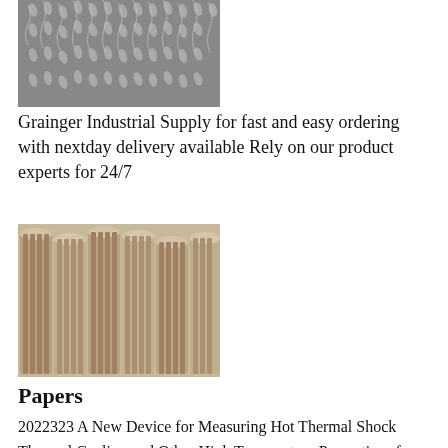[Figure (photo): Black and white close-up photo of wheat or grain ears covered in frost or snow]
Grainger Industrial Supply for fast and easy ordering with nextday delivery available Rely on our product experts for 24/7
[Figure (photo): Photo of cylindrical refractory or ceramic tube/pipe products stacked together, beige/tan colored]
Papers
2022323 A New Device for Measuring Hot Thermal Shock Thermal Cycling and Other High Temperature Properties of Refractories Jens Baber Gerhard Seifert Friedrich Raether Volume 10 Issue 1